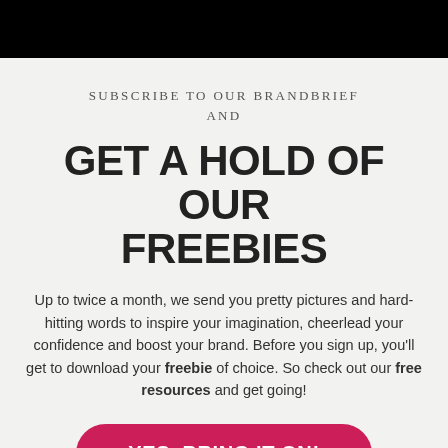[Figure (other): Black rectangular image/banner at top of page]
SUBSCRIBE TO OUR BRANDBRIEF
AND
GET A HOLD OF OUR FREEBIES
Up to twice a month, we send you pretty pictures and hard-hitting words to inspire your imagination, cheerlead your confidence and boost your brand. Before you sign up, you'll get to download your freebie of choice. So check out our free resources and get going!
YES, BRING IT ON!